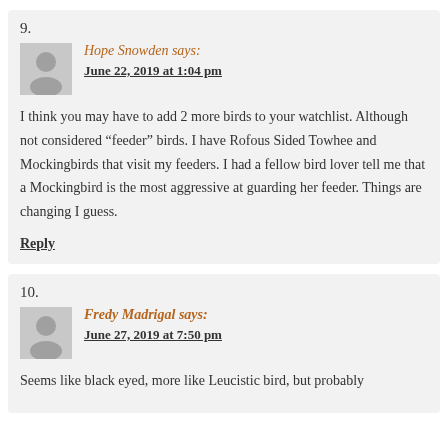9.
Hope Snowden says: June 22, 2019 at 1:04 pm
I think you may have to add 2 more birds to your watchlist. Although not considered “feeder” birds. I have Rofous Sided Towhee and Mockingbirds that visit my feeders. I had a fellow bird lover tell me that a Mockingbird is the most aggressive at guarding her feeder. Things are changing I guess.
Reply
10.
Fredy Madrigal says: June 27, 2019 at 7:50 pm
Seems like black eyed, more like Leucistic bird, but probably